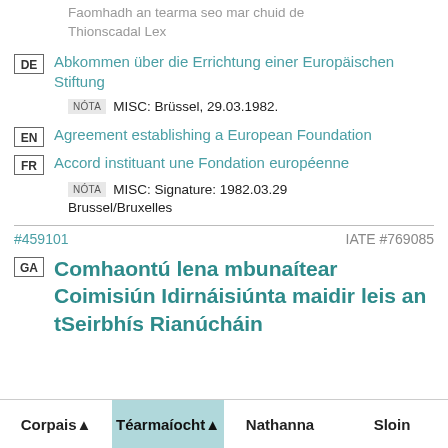Faomhadh an tearma seo mar chuid de Thionscadal Lex
DE  Abkommen über die Errichtung einer Europäischen Stiftung
NÓTA  MISC: Brüssel, 29.03.1982.
EN  Agreement establishing a European Foundation
FR  Accord instituant une Fondation européenne
NÓTA  MISC: Signature: 1982.03.29 Brussel/Bruxelles
#459101    IATE #769085
GA  Comhaontú lena mbunaítear Coimisiún Idirnáisiúnta maidir leis an tSeirbhís Rianúcháin
Corpais ▲   Téarmaíocht ▲   Nathanna   Sloin